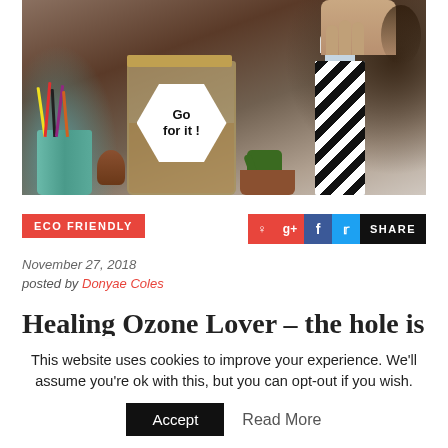[Figure (photo): Blog hero image showing a desk with pencil cup, mason jar with 'Go for it!' hexagon label, a striped water bottle, and a hand at top right. Dark warm tones.]
ECO FRIENDLY
SHARE
November 27, 2018
posted by Donyae Coles
Healing Ozone Lover – the hole is
This website uses cookies to improve your experience. We'll assume you're ok with this, but you can opt-out if you wish.
Accept
Read More